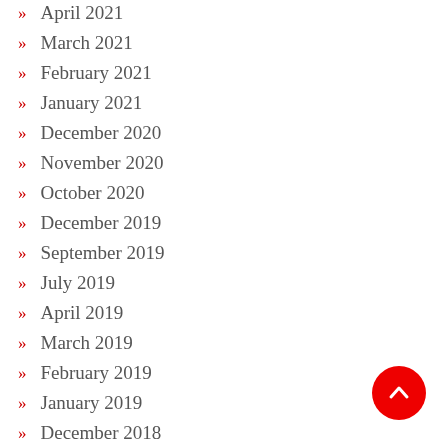April 2021
March 2021
February 2021
January 2021
December 2020
November 2020
October 2020
December 2019
September 2019
July 2019
April 2019
March 2019
February 2019
January 2019
December 2018